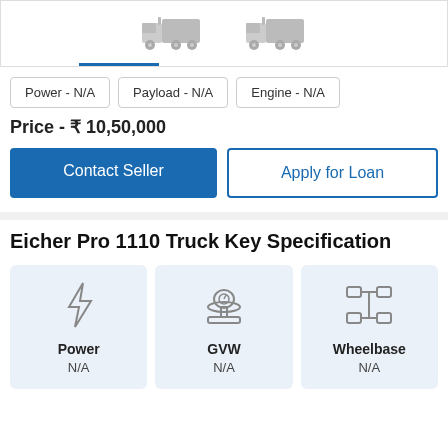[Figure (illustration): Two truck icons shown side by side with a blue underline tab indicator under the first truck]
Power - N/A
Payload - N/A
Engine - N/A
Price - ₹ 10,50,000
Contact Seller
Apply for Loan
Eicher Pro 1110 Truck Key Specification
[Figure (infographic): Three spec cards: Power (lightning bolt icon, N/A), GVW (scale icon, N/A), Wheelbase (axle icon, N/A)]